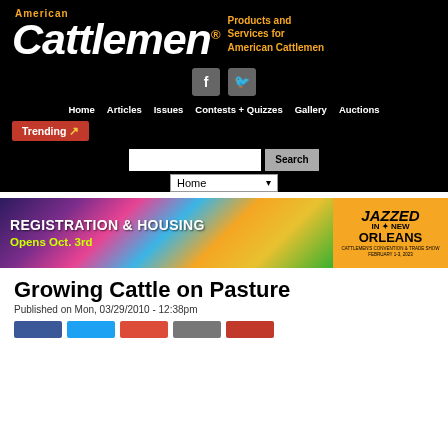American Cattlemen® — Products and Services for American Cattlemen
[Figure (screenshot): Navigation bar with Home, Articles, Issues, Contests + Quizzes, Gallery, Auctions links and Trending button]
[Figure (screenshot): Search bar with text input and Search button, and Home dropdown]
[Figure (infographic): Registration & Housing Opens Oct. 3rd banner — Jazzed In New Orleans, Cattle Industry Convention, February 1-3, 2023]
Growing Cattle on Pasture
Published on Mon, 03/29/2010 - 12:38pm